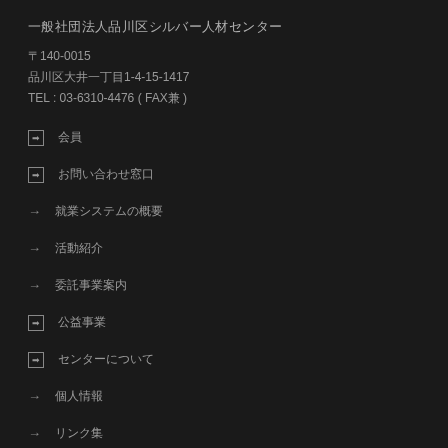一般社団法人品川区シルバー人材センター
〒140-0015
品川区大井一丁目1-4-15-1417
TEL : 03-6310-4476 ( FAX兼 )
会員
お問い合わせ窓口
就業システムの概要
活動紹介
委託事業案内
公益事業
センターについて
個人情報
リンク集